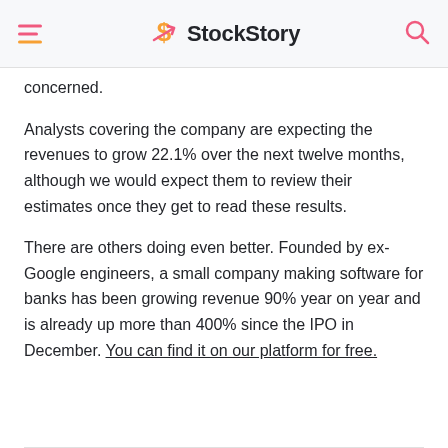StockStory
concerned.
Analysts covering the company are expecting the revenues to grow 22.1% over the next twelve months, although we would expect them to review their estimates once they get to read these results.
There are others doing even better. Founded by ex-Google engineers, a small company making software for banks has been growing revenue 90% year on year and is already up more than 400% since the IPO in December. You can find it on our platform for free.